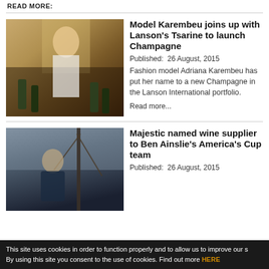READ MORE:
[Figure (photo): Fashion model in white outfit sitting with champagne bottles around her]
Model Karembeu joins up with Lanson's Tsarine to launch Champagne
Published:  26 August, 2015
Fashion model Adriana Karembeu has put her name to a new Champagne in the Lanson International portfolio.
Read more...
[Figure (photo): Ben Ainslie in sailing gear with boat mast in background]
Majestic named wine supplier to Ben Ainslie's America's Cup team
Published:  26 August, 2015
This site uses cookies in order to function properly and to allow us to improve our s By using this site you consent to the use of cookies. Find out more HERE